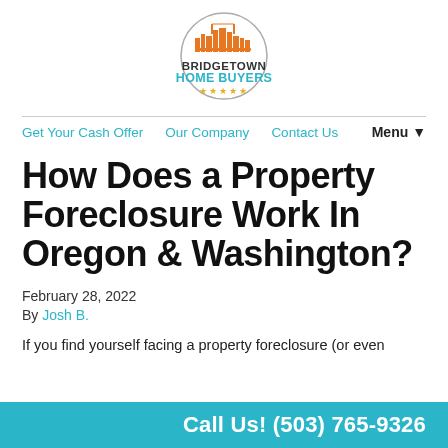[Figure (logo): Bridgetown Home Buyers circular logo with orange city skyline illustration, orange and teal text reading BRIDGETOWN HOME BUYERS, and five gold stars at the bottom]
Get Your Cash Offer   Our Company   Contact Us   Menu▼
How Does a Property Foreclosure Work In Oregon & Washington?
February 28, 2022
By Josh B.
If you find yourself facing a property foreclosure (or even
Call Us! (503) 765-9326